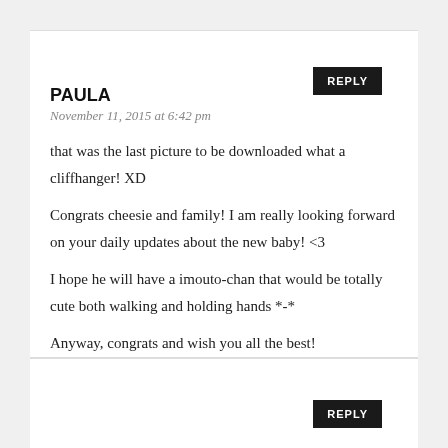REPLY
PAULA
November 11, 2015 at 6:42 pm
that was the last picture to be downloaded what a cliffhanger! XD

Congrats cheesie and family! I am really looking forward on your daily updates about the new baby! <3

I hope he will have a imouto-chan that would be totally cute both walking and holding hands *-*

Anyway, congrats and wish you all the best!
REPLY